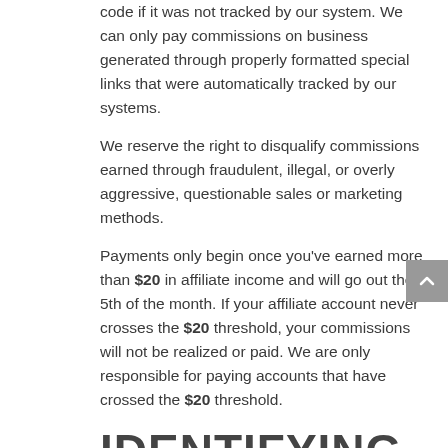code if it was not tracked by our system. We can only pay commissions on business generated through properly formatted special links that were automatically tracked by our systems.
We reserve the right to disqualify commissions earned through fraudulent, illegal, or overly aggressive, questionable sales or marketing methods.
Payments only begin once you've earned more than $20 in affiliate income and will go out the 5th of the month. If your affiliate account never crosses the $20 threshold, your commissions will not be realized or paid. We are only responsible for paying accounts that have crossed the $20 threshold.
IDENTIFYING YOURSELF AS A